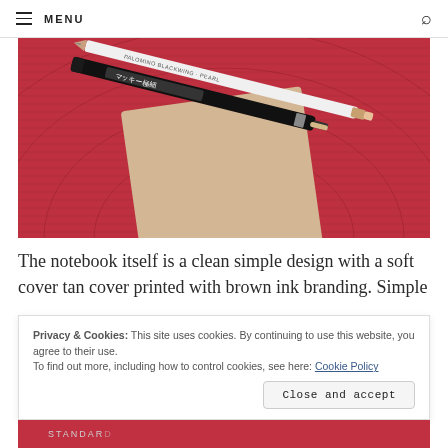MENU
[Figure (photo): Photo of a tan/beige notebook on a red woven surface, with a black marker pen (Japanese text) and a white Palomino Blackwing Pearl pencil resting on top of the notebook.]
The notebook itself is a clean simple design with a soft cover tan cover printed with brown ink branding. Simple
Privacy & Cookies: This site uses cookies. By continuing to use this website, you agree to their use.
To find out more, including how to control cookies, see here: Cookie Policy
[Figure (photo): Bottom strip showing partial image, text 'STANDARD' visible on what appears to be a notebook label.]